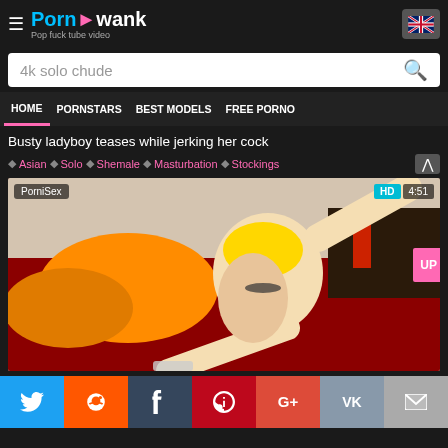PornAwank - Pop fuck tube video
4k solo chude
HOME  PORNSTARS  BEST MODELS  FREE PORNO
Busty ladyboy teases while jerking her cock
Asian  Solo  Shemale  Masturbation  Stockings
[Figure (screenshot): Video thumbnail showing blonde woman on red bed with orange pillows. PorniSex label top-left, HD badge and 4:51 duration top-right.]
Twitter  Reddit  Tumblr  Pinterest  G+  VK  Email